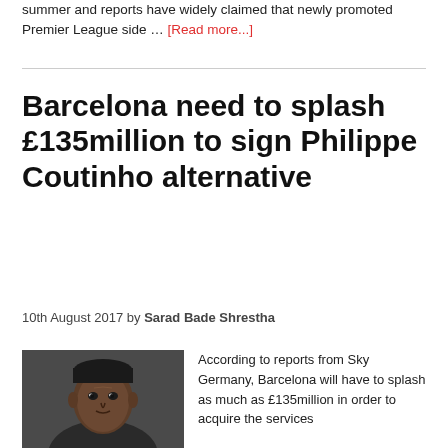summer and reports have widely claimed that newly promoted Premier League side … [Read more...]
Barcelona need to splash £135million to sign Philippe Coutinho alternative
10th August 2017 by Sarad Bade Shrestha
[Figure (photo): Close-up portrait photo of a young Black man looking at the camera]
According to reports from Sky Germany, Barcelona will have to splash as much as £135million in order to acquire the services of Dembele. Ousmane bade...